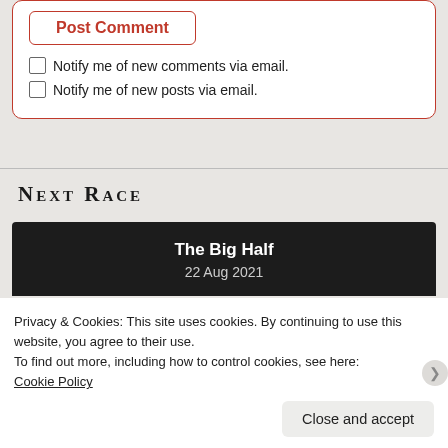Post Comment
Notify me of new comments via email.
Notify me of new posts via email.
Next Race
The Big Half
22 Aug 2021
Privacy & Cookies: This site uses cookies. By continuing to use this website, you agree to their use.
To find out more, including how to control cookies, see here: Cookie Policy
Close and accept